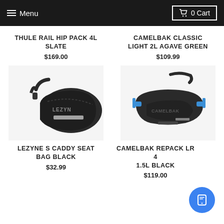Menu  0 Cart
THULE RAIL HIP PACK 4L SLATE
$169.00
[Figure (photo): Thule Rail Hip Pack 4L Slate - dark gray/black hip pack bag]
CAMELBAK CLASSIC LIGHT 2L AGAVE GREEN
$109.99
[Figure (photo): Lezyne S Caddy Seat Bag Black - black bicycle saddle bag with reflective strip and Lezyne branding]
LEZYNE S CADDY SEAT BAG BLACK
$32.99
[Figure (photo): CamelBak Repack LR 4 1.5L Black - black hip/waist pack with blue accent buckles and CamelBak logo]
CAMELBAK REPACK LR 4 1.5L BLACK
$119.00